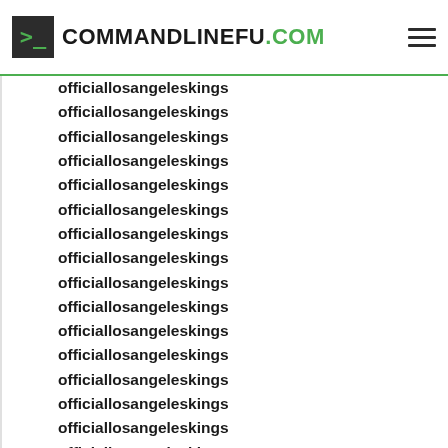COMMANDLINEFU.COM
officiallosangeleskings
officiallosangeleskings
officiallosangeleskings
officiallosangeleskings
officiallosangeleskings
officiallosangeleskings
officiallosangeleskings
officiallosangeleskings
officiallosangeleskings
officiallosangeleskings
officiallosangeleskings
officiallosangeleskings
officiallosangeleskings
officiallosangeleskings
officiallosangeleskings
officiallosangeleskings
officiallosangeleskings
officiallosangeleskings
officiallosangeleskings
officiallosangeleskings